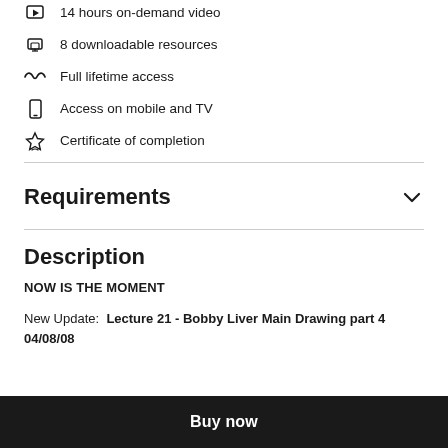14 hours on-demand video
8 downloadable resources
Full lifetime access
Access on mobile and TV
Certificate of completion
Requirements
Description
NOW IS THE MOMENT
New Update:  Lecture 21 - Bobby Liver Main Drawing part 4 04/08/08
Buy now